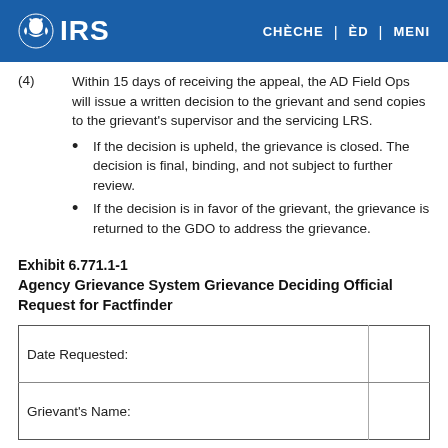IRS | CHÈCHE | ÈD | MENI
(4) Within 15 days of receiving the appeal, the AD Field Ops will issue a written decision to the grievant and send copies to the grievant's supervisor and the servicing LRS.
If the decision is upheld, the grievance is closed. The decision is final, binding, and not subject to further review.
If the decision is in favor of the grievant, the grievance is returned to the GDO to address the grievance.
Exhibit 6.771.1-1
Agency Grievance System Grievance Deciding Official Request for Factfinder
| Date Requested: |
| Grievant's Name: |